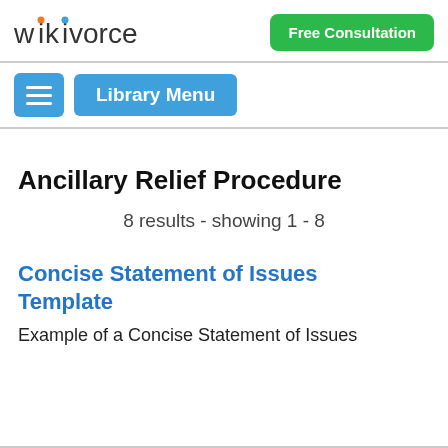wikivorce | Free Consultation
Library Menu
Ancillary Relief Procedure
8 results - showing 1 - 8
Concise Statement of Issues Template
Example of a Concise Statement of Issues